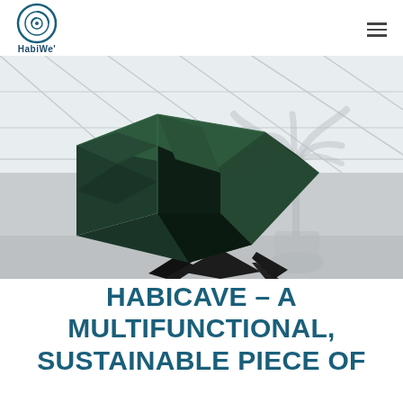HabiWe'
[Figure (photo): A dark green geometric sculptural furniture piece (HabiCave) with faceted angular surfaces and a star-shaped base, photographed in a modern office environment with large windows and a potted palm plant in the background.]
HABICAVE – A MULTIFUNCTIONAL, SUSTAINABLE PIECE OF